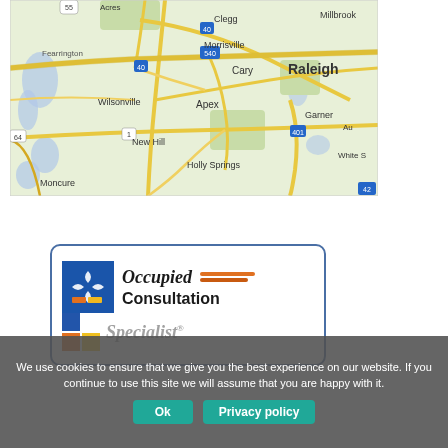[Figure (map): Google Maps view showing Raleigh, NC area including Cary, Morrisville, Apex, Holly Springs, Garner, Wilsonville, New Hill, Moncure, Fearrington, Millbrook areas with road network]
[Figure (logo): Occupied Consultation Specialist logo with blue icon, orange italic text 'Occupied', orange lines, bold 'Consultation', color blocks and italic 'Specialist' text with registered trademark]
We use cookies to ensure that we give you the best experience on our website. If you continue to use this site we will assume that you are happy with it.